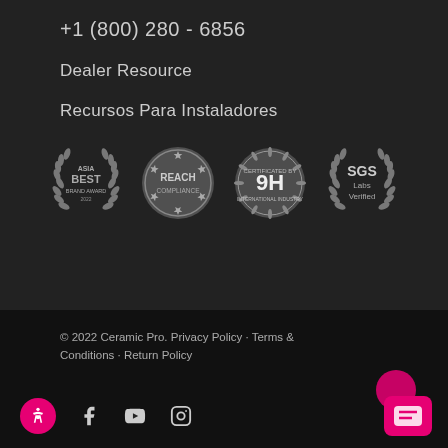+1 (800) 280 - 6856
Dealer Resource
Recursos Para Instaladores
[Figure (logo): Four certification badges: Asia Best Brand Award, REACH Compliance, 9H Certificated, SGS Labs Verified]
© 2022 Ceramic Pro. Privacy Policy · Terms & Conditions · Return Policy
[Figure (illustration): Social media icons: accessibility, Facebook, YouTube, Instagram. Pink chat button bottom right.]